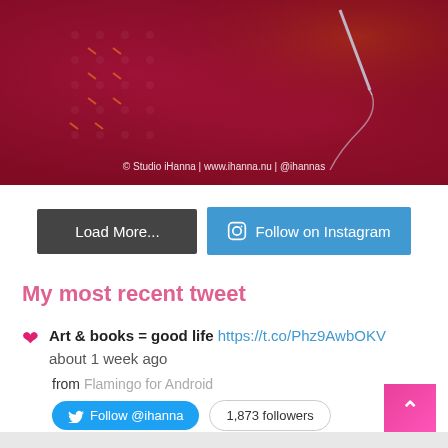[Figure (photo): Close-up photo of pink/red fabric with textured dots/embroidery and a needle, watermark reads: © Studio iHanna | www.ihanna.nu | @ihannas]
Load More...
Follow on Instagram
My most recent tweet
Art & books = good life https://t.co/Phz9AwbOKV about 1 week ago from Flamingo for Android
Follow @ihanna
1,873 followers